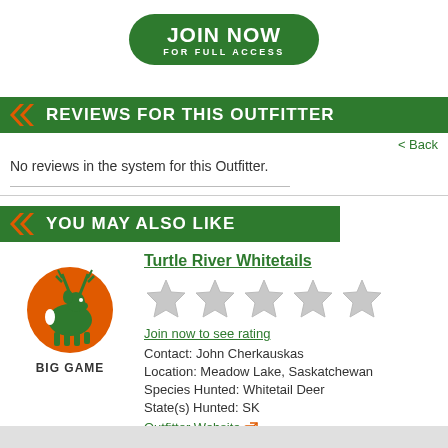[Figure (logo): Green rounded rectangle button with white bold text 'JOIN NOW' and smaller text 'FOR FULL ACCESS']
REVIEWS FOR THIS OUTFITTER
< Back
No reviews in the system for this Outfitter.
YOU MAY ALSO LIKE
[Figure (logo): Orange circle with green deer silhouette — outfitter logo for Turtle River Whitetails, labeled BIG GAME]
Turtle River Whitetails
[Figure (other): Five grey/white empty star rating icons]
Join now to see rating
Contact: John Cherkauskas
Location: Meadow Lake, Saskatchewan
Species Hunted: Whitetail Deer
State(s) Hunted: SK
Outfitter Website